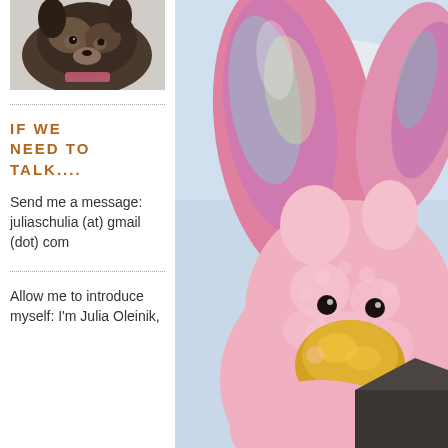[Figure (photo): Close-up photo of a small dog with dark fur and a pink accessory, top of left column]
IF WE NEED TO TALK....
Send me a message: juliaschulia (at) gmail (dot) com
Allow me to introduce myself: I'm Julia Oleinik,
[Figure (photo): Large close-up photo of a pink fluffy bunny stuffed animal with shiny iridescent ears, against a sky background, filling the right column]